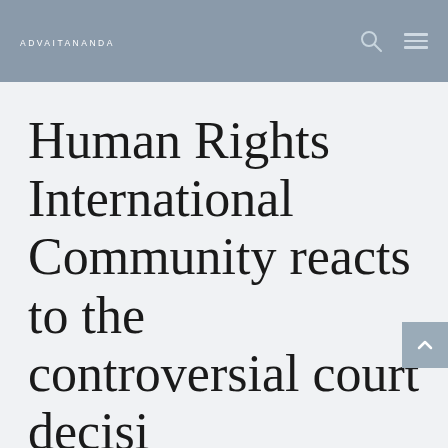ADVAITANANDA
Human Rights International Community reacts to the controversial court decision